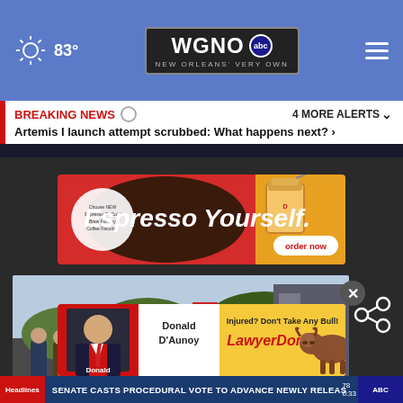83° WGNO abc NEW ORLEANS' VERY OWN
BREAKING NEWS  4 MORE ALERTS ∨  Artemis I launch attempt scrubbed: What happens next? >
[Figure (photo): Advertisement banner: Espresso Yourself. Order now. Dunkin' Donuts ad with coffee cup.]
[Figure (photo): Group of people standing outdoors near a building with American flags, appears to be a press conference or official event.]
[Figure (photo): Advertisement: Donald D'Aunoy - Injured? Don't Take Any Bull! LawyerDon.com - with image of a longhorn bull.]
Headlines  SENATE CASTS PROCEDURAL VOTE TO ADVANCE NEWLY RELEAS